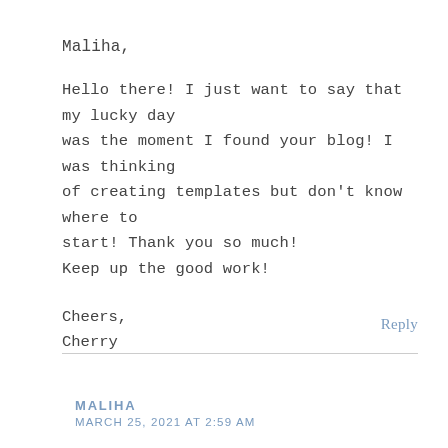Maliha,
Hello there! I just want to say that my lucky day was the moment I found your blog! I was thinking of creating templates but don't know where to start! Thank you so much!
Keep up the good work!
Cheers,
Cherry
Reply
MALIHA
MARCH 25, 2021 AT 2:59 AM